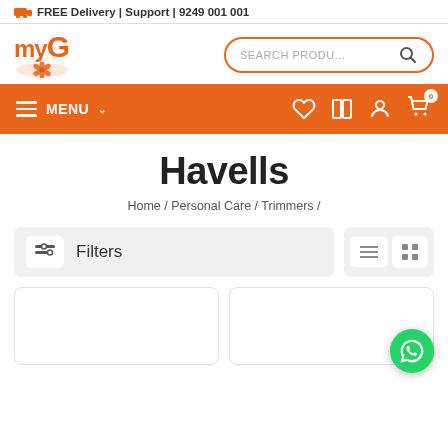🚚 FREE Delivery | Support | 9249 001 001
[Figure (logo): myG logo with orange sunflower decoration]
[Figure (screenshot): Search box with placeholder text SEARCH PRODU... and search icon]
[Figure (screenshot): Orange navigation bar with MENU hamburger icon, heart, compare, account, and cart icons with badge 0]
Havells
Home / Personal Care / Trimmers /
[Figure (screenshot): Filters bar with filter icon and Filters label, and view toggle buttons]
[Figure (screenshot): Two empty product card placeholders and a WhatsApp chat button]